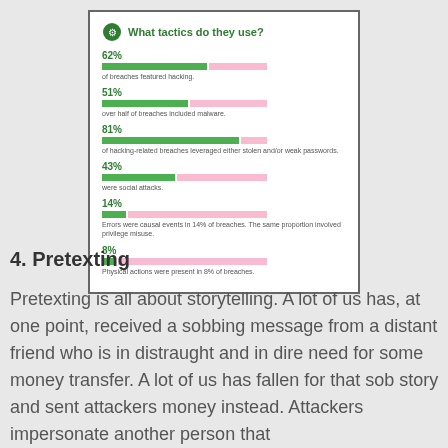[Figure (infographic): Bar chart infographic showing breach tactics: 62% hacking, 51% malware, 81% stolen/weak passwords, 43% social attacks, 14% errors/privilege misuse, 8% physical actions]
4. Pretexting
Pretexting is all about storytelling. A lot of us has, at one point, received a sobbing message from a distant friend who is in distraught and in dire need for some money transfer. A lot of us has fallen for that sob story and sent attackers money instead. Attackers impersonate another person that